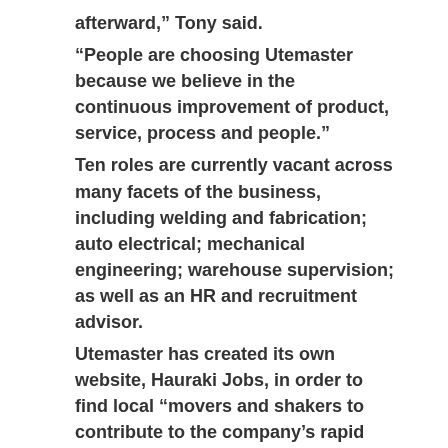afterward,” Tony said.
“People are choosing Utemaster because we believe in the continuous improvement of product, service, process and people.”
Ten roles are currently vacant across many facets of the business, including welding and fabrication; auto electrical; mechanical engineering; warehouse supervision; as well as an HR and recruitment advisor.
Utemaster has created its own website, Hauraki Jobs, in order to find local “movers and shakers to contribute to the company’s rapid growth”.
“Going forward, we plan to continue to bring new products to the market and further increase our export operations,” Tony said.
“To do this, we need to build a strong team of skilled players to enable us to keep manufacturing local in the Hauraki Plains and produce quality products.”
To find out more about available positions, visit: